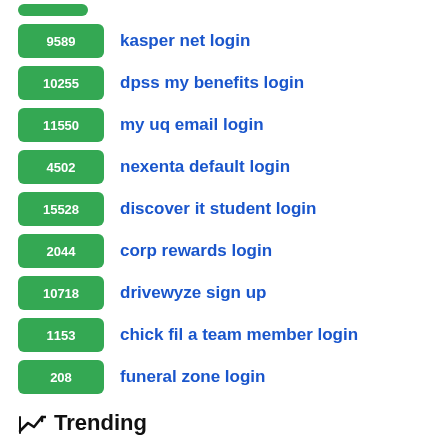9589 kasper net login
10255 dpss my benefits login
11550 my uq email login
4502 nexenta default login
15528 discover it student login
2044 corp rewards login
10718 drivewyze sign up
1153 chick fil a team member login
208 funeral zone login
Trending